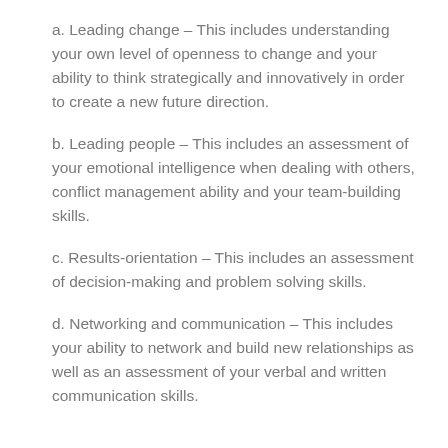a. Leading change – This includes understanding your own level of openness to change and your ability to think strategically and innovatively in order to create a new future direction.
b. Leading people – This includes an assessment of your emotional intelligence when dealing with others, conflict management ability and your team-building skills.
c. Results-orientation – This includes an assessment of decision-making and problem solving skills.
d. Networking and communication – This includes your ability to network and build new relationships as well as an assessment of your verbal and written communication skills.